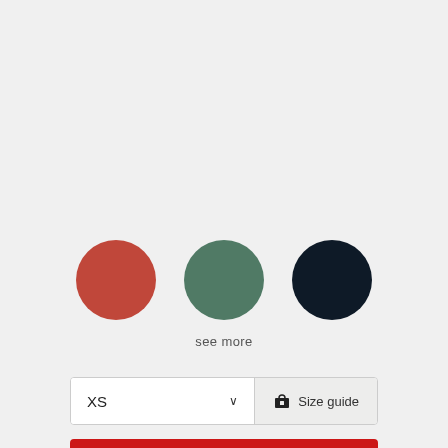[Figure (other): Three color swatch circles: red, green, navy]
see more
XS  ∨   Size guide
ADD TO CART
zip Buy now. Pay later.
4 interest-free payments of $17.49 NZD (or similar partial text)